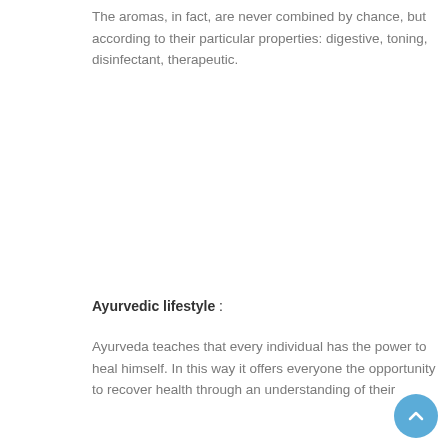The aromas, in fact, are never combined by chance, but according to their particular properties: digestive, toning, disinfectant, therapeutic.
Ayurvedic lifestyle :
Ayurveda teaches that every individual has the power to heal himself. In this way it offers everyone the opportunity to recover health through an understanding of their